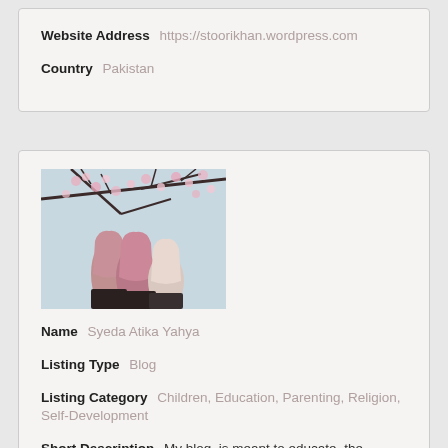Website Address  https://stoorikhan.wordpress.com
Country  Pakistan
[Figure (photo): Three women in hijabs seen from behind, standing under cherry blossom tree branches with pink flowers]
Name  Syeda Atika Yahya
Listing Type  Blog
Listing Category  Children, Education, Parenting, Religion, Self-Development
Short Description  My blog, is meant to educate, the women of my community, inform them of their true status Islam provides them and inspire them to be the best,